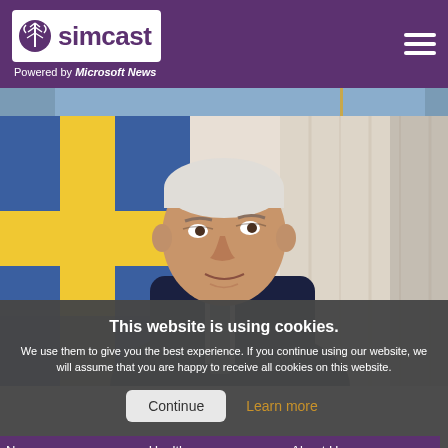simcast — Powered by Microsoft News
[Figure (photo): Partial view of a scene with blue background, top strip]
[Figure (photo): Photo of Joe Biden in a dark suit with a blue and yellow flag in the background]
This website is using cookies.
We use them to give you the best experience. If you continue using our website, we will assume that you are happy to receive all cookies on this website.
Continue
Learn more
News
Health
About Us
Money
Travel
Contact Us
Entertainment
Videos
Privacy Policy
Lifestyle
Sports
Terms of Use